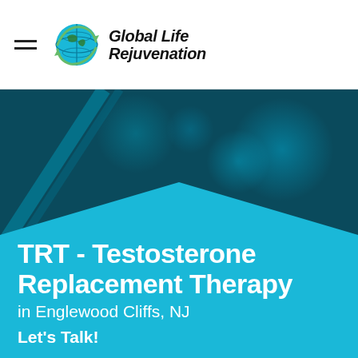[Figure (logo): Global Life Rejuvenation logo with globe icon and italic brand name]
[Figure (photo): Dark teal bokeh background with cyan pentagonal banner overlay containing TRT page hero content]
TRT - Testosterone Replacement Therapy
in Englewood Cliffs, NJ
Let's Talk!